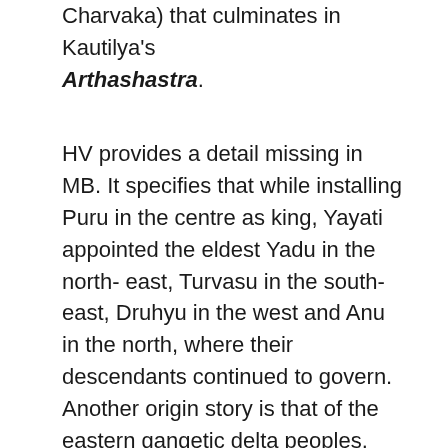Charvaka) that culminates in Kautilya's Arthashastra.
HV provides a detail missing in MB. It specifies that while installing Puru in the centre as king, Yayati appointed the eldest Yadu in the north-east, Turvasu in the south-east, Druhyu in the west and Anu in the north, where their descendants continued to govern. Another origin story is that of the eastern gangetic delta peoples. Anga, Vanga, Suhma, Pundra and Kalinga are sons of the eponymous Bali, the demon monarch reborn as human. A link is found with the Ramayana because Anga's descendant Dasharatha was known as Lomanada whose daughter Shanta (said to be